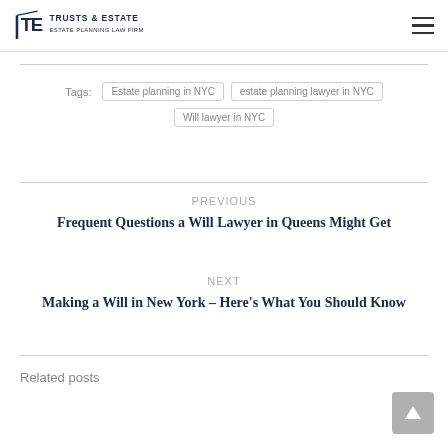TRUSTS & ESTATE ESTATE PLANNING LAW FIRM
Tags: Estate planning in NYC | estate planning lawyer in NYC | Will lawyer in NYC
PREVIOUS
Frequent Questions a Will Lawyer in Queens Might Get
NEXT
Making a Will in New York – Here’s What You Should Know
Related posts